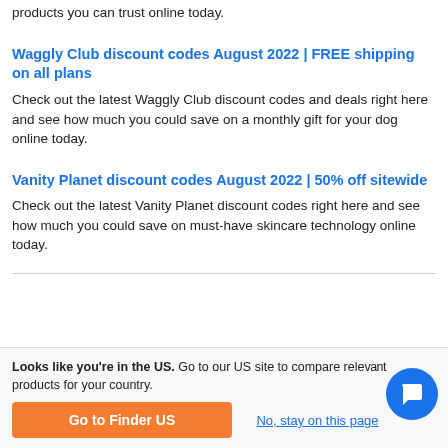products you can trust online today.
Waggly Club discount codes August 2022 | FREE shipping on all plans
Check out the latest Waggly Club discount codes and deals right here and see how much you could save on a monthly gift for your dog online today.
Vanity Planet discount codes August 2022 | 50% off sitewide
Check out the latest Vanity Planet discount codes right here and see how much you could save on must-have skincare technology online today.
Looks like you're in the US. Go to our US site to compare relevant products for your country.
Go to Finder US
No, stay on this page